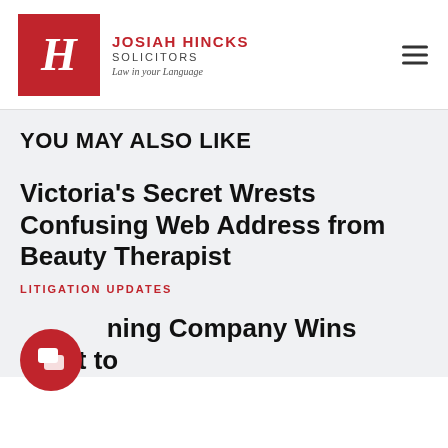[Figure (logo): Josiah Hincks Solicitors logo with red square containing stylized H, and text 'JOSIAH HINCKS SOLICITORS Law in your Language']
YOU MAY ALSO LIKE
Victoria's Secret Wrests Confusing Web Address from Beauty Therapist
LITIGATION UPDATES
Canning Company Wins Right to